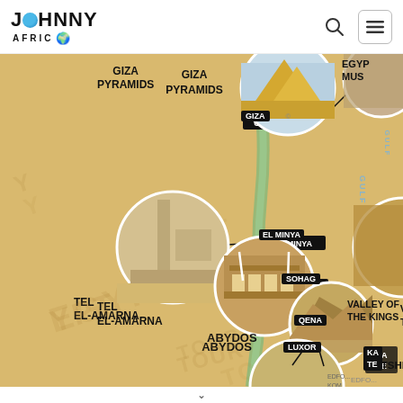JOHNNY AFRICA
[Figure (map): Tourist map of Egypt showing key landmarks including Giza Pyramids, Tel El-Amarna, Abydos, Valley of the Kings, Hatshepsut, Egypt Museum (partially visible), El Minya, Sohag, Qena, Luxor, and other sites along the Nile River. Circular photo thumbnails connected by lines to location labels on a sandy-colored illustrated map.]